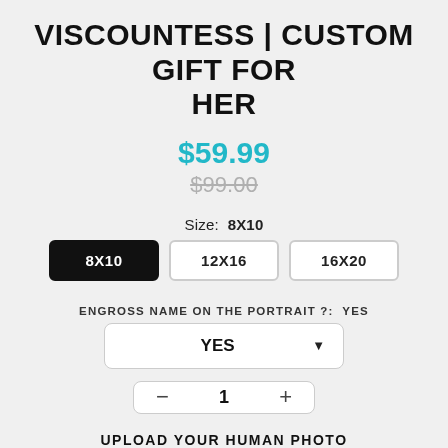VISCOUNTESS | CUSTOM GIFT FOR HER
$59.99
$99.00
Size:  8X10
8X10   12X16   16X20
ENGROSS NAME ON THE PORTRAIT ?:  YES
YES
- 1 +
UPLOAD YOUR HUMAN PHOTO